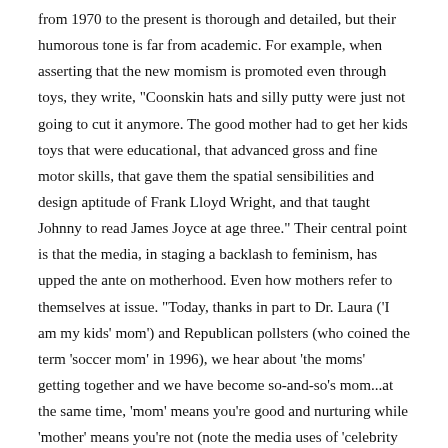from 1970 to the present is thorough and detailed, but their humorous tone is far from academic. For example, when asserting that the new momism is promoted even through toys, they write, "Coonskin hats and silly putty were just not going to cut it anymore. The good mother had to get her kids toys that were educational, that advanced gross and fine motor skills, that gave them the spatial sensibilities and design aptitude of Frank Lloyd Wright, and that taught Johnny to read James Joyce at age three." Their central point is that the media, in staging a backlash to feminism, has upped the ante on motherhood. Even how mothers refer to themselves at issue. "Today, thanks in part to Dr. Laura ('I am my kids' mom') and Republican pollsters (who coined the term 'soccer mom' in 1996), we hear about 'the moms' getting together and we have become so-and-so's mom...at the same time, 'mom' means you're good and nurturing while 'mother' means you're not (note the media uses of 'celebrity mom' versus 'welfare mother' and 'stay-at-home mom' versus